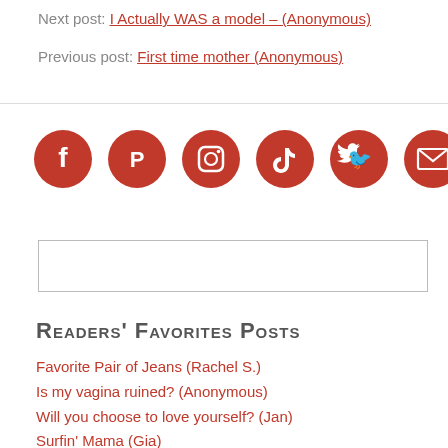Next post: I Actually WAS a model – (Anonymous)
Previous post: First time mother (Anonymous)
[Figure (infographic): Row of 6 red circular social media icons: Facebook, Patreon, Instagram, TikTok, Twitter, Email]
[Figure (other): Search input box, empty]
Readers' Favorites Posts
Favorite Pair of Jeans (Rachel S.)
Is my vagina ruined? (Anonymous)
Will you choose to love yourself? (Jan)
Surfin' Mama (Gia)
The Shape of Our Hearts (Christina Plant)